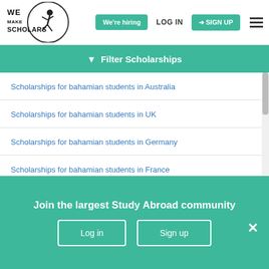[Figure (logo): We Make Scholars logo with figure and circle]
We're hiring
LOG IN
SIGN UP
Filter Scholarships
Scholarships for bahamian students in Australia
Scholarships for bahamian students in UK
Scholarships for bahamian students in Germany
Scholarships for bahamian students in France
Scholarships for bahamian students in Italy
Scholarships for bahamian students in Sweden
Join the largest Study Abroad community
Log in
Sign up